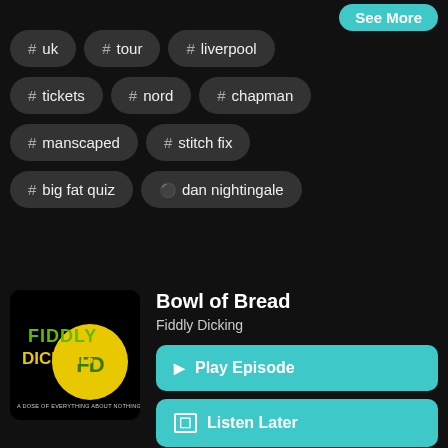See More
# uk
# tour
# liverpool
# tickets
# nord
# chapman
# manscaped
# stitch fix
# big fat quiz
dan nightingale
[Figure (logo): Fiddly Dicking podcast logo: black background with green text 'FIDDLY DICKING' and a yellow coin with 'FD' in the center, subtitle 'A DOSE OF EVERYTHING ABOUT NOTHING']
Bowl of Bread
Fiddly Dicking
Play Episode
Listen Later
Aug 12, 2022
12:49